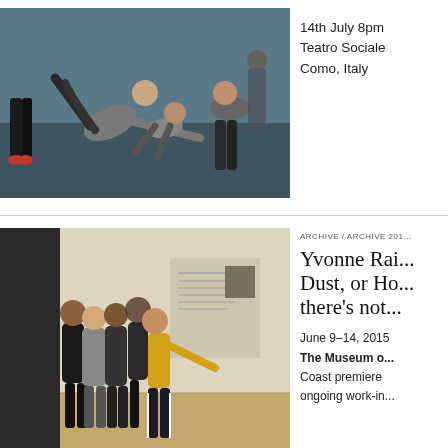[Figure (photo): Dancers performing acrobatic movements on a stage with blue floor. One dancer arching backwards while others support or move around them.]
14th July 8pm
Teatro Sociale
Como, Italy
[Figure (photo): Group of dancers in a museum or gallery space, embracing and moving together. One dancer in yellow top extending arm outward. Background shows exhibition walls with artwork.]
ARCHIVE / ARCHIVE 201...
Yvonne Rai... Dust, or Ho... there's not...
June 9–14, 2015
The Museum o...
Coast premiere...
ongoing work-in...